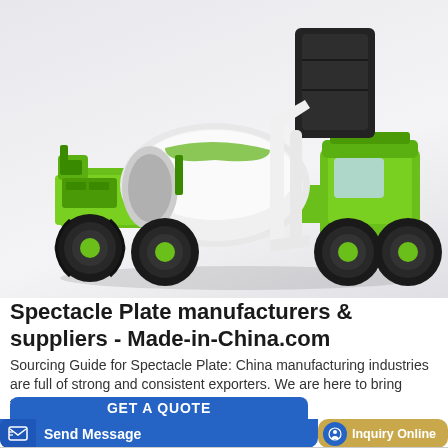[Figure (photo): A self-loading concrete mixer truck with lime green body, white drum, black hopper, and large off-road tires, on a light gray background.]
Spectacle Plate manufacturers & suppliers - Made-in-China.com
Sourcing Guide for Spectacle Plate: China manufacturing industries are full of strong and consistent exporters. We are here to bring together China factories that supply manufactu
GET A QUOTE
Send Message
Inquiry Online